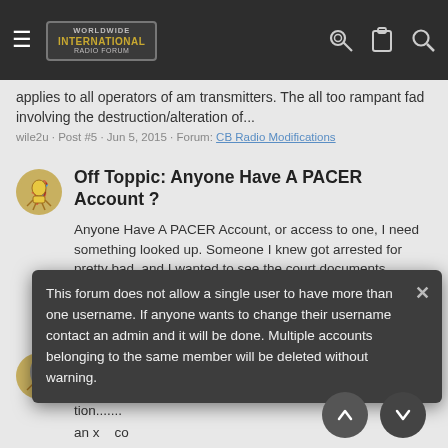Worldwide Radio Forum – navigation bar
applies to all operators of am transmitters. The all too rampant fad involving the destruction/alteration of...
wile2u · Post #5 · Jun 5, 2015 · Forum: CB Radio Modifications
Off Toppic: Anyone Have A PACER Account ?
Anyone Have A PACER Account, or access to one, I need something looked up. Someone I knew got arrested for pretty bad, and I wanted to see the court documents. Thanks Wile
wile2u · Thread · May 12, 2015 · Replies: 0 · Forum: Announcements & Open Forum
Radio wanted for camping
eur Radio Gear
tion.......
an x   co
find one.
This forum does not allow a single user to have more than one username. If anyone wants to change their username contact an admin and it will be done. Multiple accounts belonging to the same member will be deleted without warning.